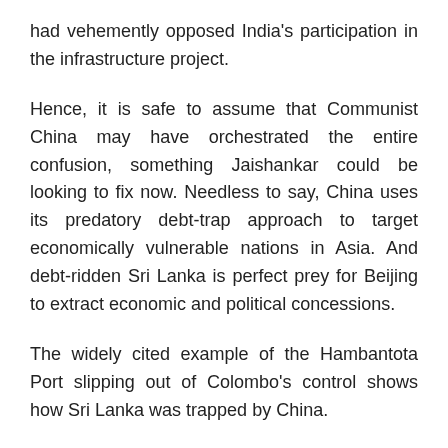had vehemently opposed India's participation in the infrastructure project.
Hence, it is safe to assume that Communist China may have orchestrated the entire confusion, something Jaishankar could be looking to fix now. Needless to say, China uses its predatory debt-trap approach to target economically vulnerable nations in Asia. And debt-ridden Sri Lanka is perfect prey for Beijing to extract economic and political concessions.
The widely cited example of the Hambantota Port slipping out of Colombo's control shows how Sri Lanka was trapped by China.
The project was leased to China Merchant Port Holdings Limited for 99 years for $1.12 billion in 2017. It is believed Sri Lanka had been totally aware that it would not be able to repay